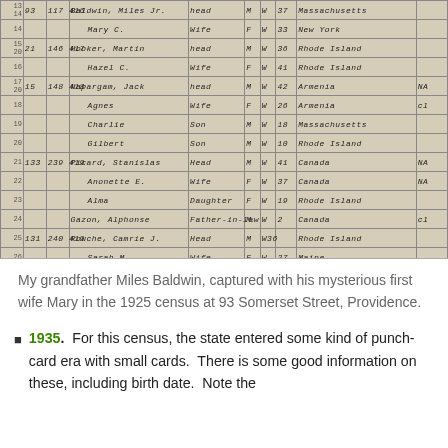[Figure (photo): Scanned image of a 1925 Rhode Island census document showing handwritten entries for multiple households on Somerset Street, Providence. Entries include names such as Baldwin Miles Jr., Mary C., Hooker Martin, Hazel C., Napargam Jack, Agnes, Charlie, Gilbert, Picard Stanislas, Anonette E., Alma, Gazon Alphonse, Rouche Camrie J., Sarah M., Hartley J., Libby Christine A., Emma C., Thurzon M., Nloges Paul S., Cleo, Buttons Sydney, Stella M. Columns include line numbers, house/family numbers, street number, name, relationship, sex, race, age, and birthplace.]
My grandfather Miles Baldwin, captured with his mysterious first wife Mary in the 1925 census at 93 Somerset Street, Providence.
1935.  For this census, the state entered some kind of punch-card era with small cards.  There is some good information on these, including birth date.  Note the